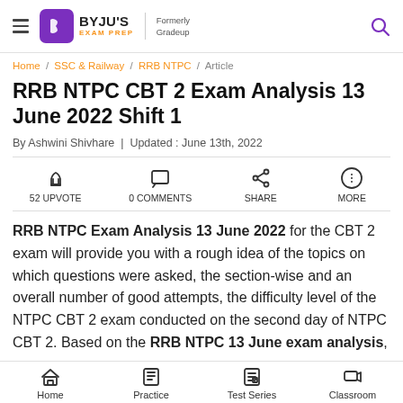BYJU'S EXAM PREP — Formerly Gradeup
Home / SSC & Railway / RRB NTPC / Article
RRB NTPC CBT 2 Exam Analysis 13 June 2022 Shift 1
By Ashwini Shivhare | Updated : June 13th, 2022
52 UPVOTE   0 COMMENTS   SHARE   MORE
RRB NTPC Exam Analysis 13 June 2022 for the CBT 2 exam will provide you with a rough idea of the topics on which questions were asked, the section-wise and an overall number of good attempts, the difficulty level of the NTPC CBT 2 exam conducted on the second day of NTPC CBT 2. Based on the RRB NTPC 13 June exam analysis,
Home   Practice   Test Series   Classroom